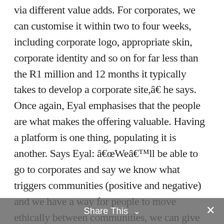via different value adds. For corporates, we can customise it within two to four weeks, including corporate logo, appropriate skin, corporate identity and so on for far less than the R1 million and 12 months it typically takes to develop a corporate site,â€ he says. Once again, Eyal emphasises that the people are what makes the offering valuable. Having a platform is one thing, populating it is another. Says Eyal: â€œWeâ€™ll be able to go to corporates and say we know what triggers communities (positive and negative) and we have a way for people to move ethically between communities, we can give you 50
Share This ˅ ✕